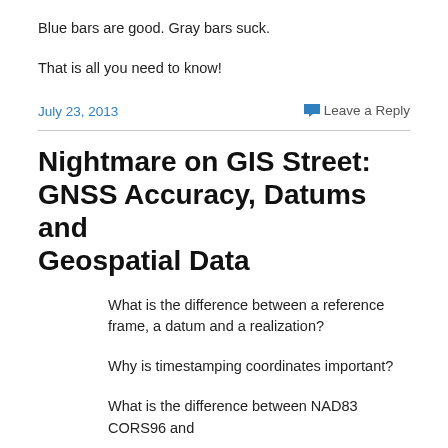Blue bars are good. Gray bars suck.
That is all you need to know!
July 23, 2013
Leave a Reply
Nightmare on GIS Street: GNSS Accuracy, Datums and Geospatial Data
What is the difference between a reference frame, a datum and a realization?
Why is timestamping coordinates important?
What is the difference between NAD83 CORS96 and